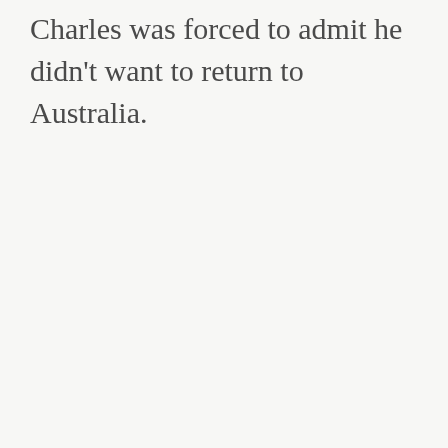Charles was forced to admit he didn't want to return to Australia.